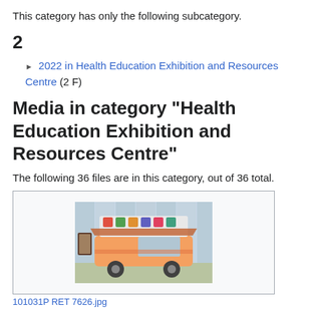This category has only the following subcategory.
2
2022 in Health Education Exhibition and Resources Centre (2 F)
Media in category "Health Education Exhibition and Resources Centre"
The following 36 files are in this category, out of 36 total.
[Figure (photo): Photo of a food truck or mobile vendor cart inside an exhibition hall, with colorful decorations and display items on top.]
101031P RET 7626.jpg